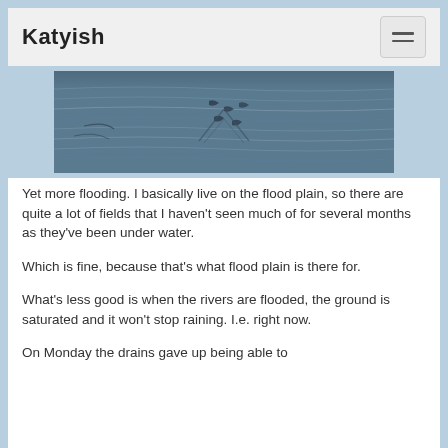Katyish
[Figure (photo): Aerial or close-up photograph of flooded fields showing water surface with ripple patterns and dark marks or footprints visible on the water surface.]
Yet more flooding.  I basically live on the flood plain, so there are quite a lot of fields that I haven't seen much of for several months as they've been under water.
Which is fine, because that's what flood plain is there for.
What's less good is when the rivers are flooded, the ground is saturated and it won't stop raining.  I.e. right now.
On Monday the drains gave up being able to